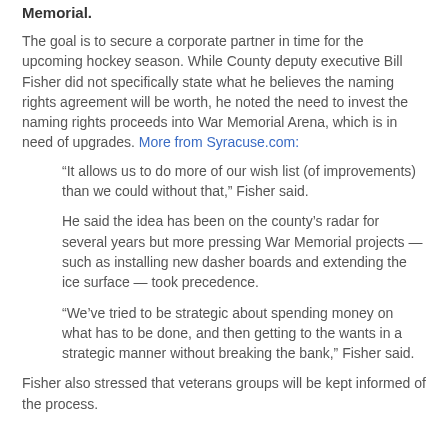Memorial.
The goal is to secure a corporate partner in time for the upcoming hockey season. While County deputy executive Bill Fisher did not specifically state what he believes the naming rights agreement will be worth, he noted the need to invest the naming rights proceeds into War Memorial Arena, which is in need of upgrades. More from Syracuse.com:
“It allows us to do more of our wish list (of improvements) than we could without that,” Fisher said.
He said the idea has been on the county’s radar for several years but more pressing War Memorial projects — such as installing new dasher boards and extending the ice surface — took precedence.
“We’ve tried to be strategic about spending money on what has to be done, and then getting to the wants in a strategic manner without breaking the bank,” Fisher said.
Fisher also stressed that veterans groups will be kept informed of the process.